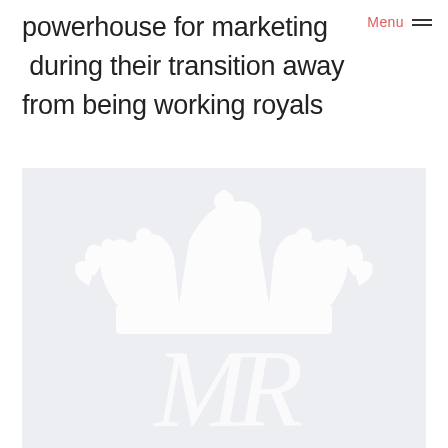Menu
powerhouse for marketing  during their transition away from being working royals and working towards financial independence.
[Figure (illustration): A light grey background panel containing a faint white royal crown and stylized monogram/cypher watermark, resembling a royal crest or coat of arms.]